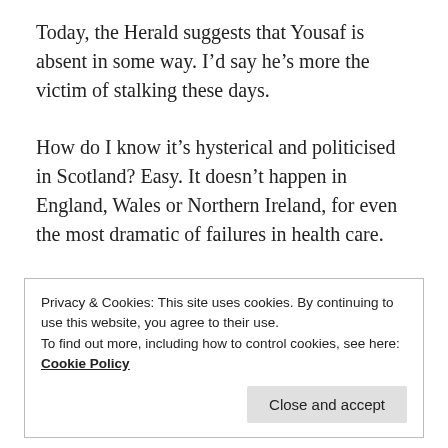Today, the Herald suggests that Yousaf is absent in some way. I’d say he’s more the victim of stalking these days.
How do I know it’s hysterical and politicised in Scotland? Easy. It doesn’t happen in England, Wales or Northern Ireland, for even the most dramatic of failures in health care.
Remember Matt Hancock, England’s Health Secretary?
Privacy & Cookies: This site uses cookies. By continuing to use this website, you agree to their use.
To find out more, including how to control cookies, see here:
Cookie Policy
Close and accept